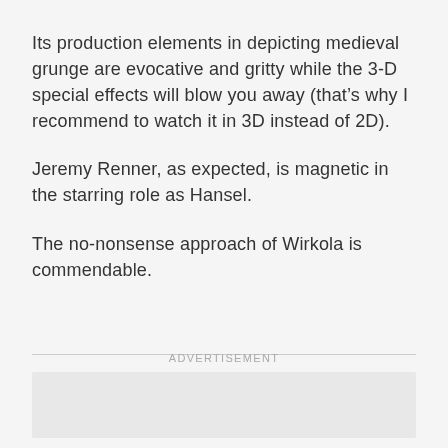Its production elements in depicting medieval grunge are evocative and gritty while the 3-D special effects will blow you away (that’s why I recommend to watch it in 3D instead of 2D).
Jeremy Renner, as expected, is magnetic in the starring role as Hansel.
The no-nonsense approach of Wirkola is commendable.
ADVERTISEMENT
[Figure (other): Advertisement placeholder box (grey rectangle)]